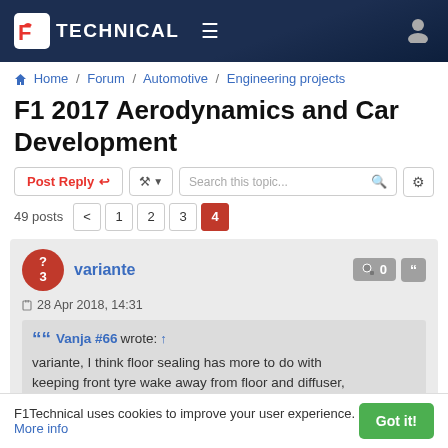F1Technical — Navigation header with logo, menu and user icon
Home / Forum / Automotive / Engineering projects
F1 2017 Aerodynamics and Car Development
Post Reply | Tools | Search this topic... | 49 posts 1 2 3 4
variante — 28 Apr 2018, 14:31
Vanja #66 wrote: ↑
variante, I think floor sealing has more to do with keeping front tyre wake away from floor and diffuser, than with ground-effect sealing. Diffuser and ground
F1Technical uses cookies to improve your user experience. More info  Got it!